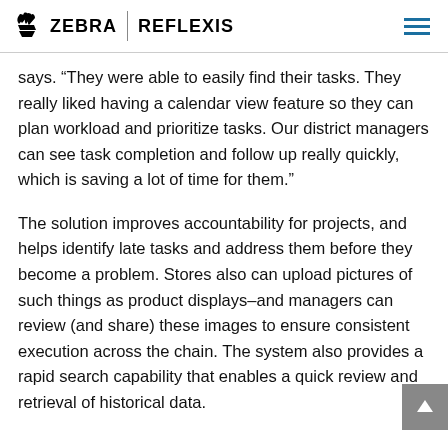ZEBRA | REFLEXIS
says. “They were able to easily find their tasks. They really liked having a calendar view feature so they can plan workload and prioritize tasks. Our district managers can see task completion and follow up really quickly, which is saving a lot of time for them.”
The solution improves accountability for projects, and helps identify late tasks and address them before they become a problem. Stores also can upload pictures of such things as product displays–and managers can review (and share) these images to ensure consistent execution across the chain. The system also provides a rapid search capability that enables a quick review and retrieval of historical data.